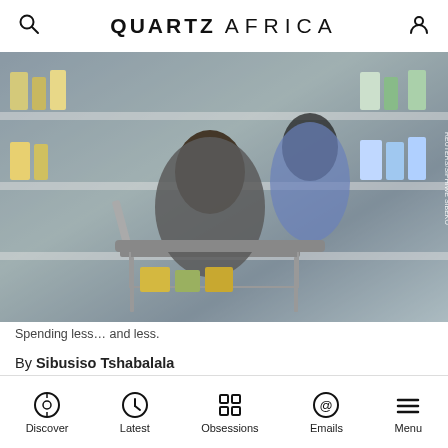QUARTZ AFRICA
[Figure (photo): Two women shopping in a grocery store with a cart, shelves stocked with products in background. Photo credit: REUTERS/SIPHIWE SIBEKO]
Spending less… and less.
By Sibusiso Tshabalala
Published July 3, 2015 • Last updated July 21, 2022 • This article is more than 2 years old.
Discover  Latest  Obsessions  Emails  Menu